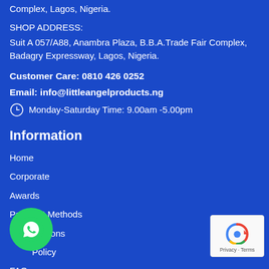Complex, Lagos, Nigeria.
SHOP ADDRESS:
Suit A 057/A88, Anambra Plaza, B.B.A.Trade Fair Complex, Badagry Expressway, Lagos, Nigeria.
Customer Care: 0810 426 0252
Email: info@littleangelproducts.ng
Monday-Saturday Time: 9.00am -5.00pm
Information
Home
Corporate
Awards
Payment Methods
Locations
Privacy Policy
FAQ